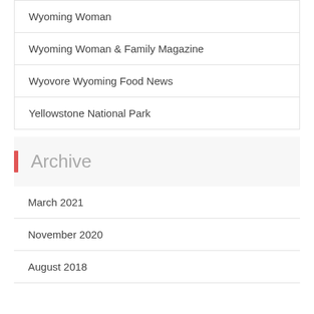Wyoming Woman
Wyoming Woman & Family Magazine
Wyovore Wyoming Food News
Yellowstone National Park
Archive
March 2021
November 2020
August 2018